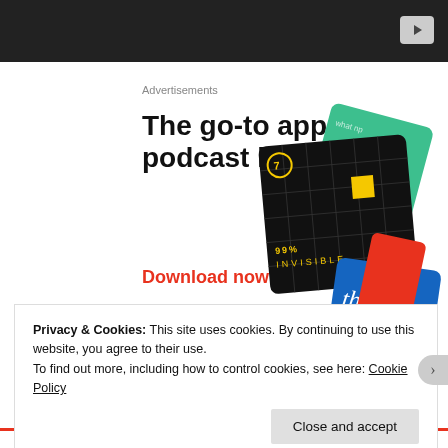[Figure (screenshot): Dark top navigation bar with YouTube play button icon in top right corner]
Advertisements
The go-to app for podcast lovers.
Download now
[Figure (illustration): Podcast app cards illustration showing 99% Invisible black card with yellow square, a green card, a blue card, and a red card fanned out]
Privacy & Cookies: This site uses cookies. By continuing to use this website, you agree to their use.
To find out more, including how to control cookies, see here: Cookie Policy
Close and accept